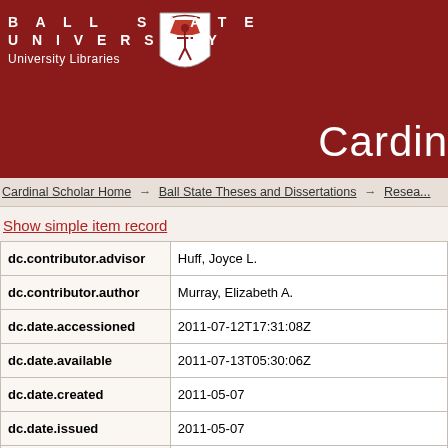Ball State University — University Libraries — Cardinal Scholar
Cardinal Scholar Home → Ball State Theses and Dissertations → Resea...
Show simple item record
| Field | Value |
| --- | --- |
| dc.contributor.advisor | Huff, Joyce L. |
| dc.contributor.author | Murray, Elizabeth A. |
| dc.date.accessioned | 2011-07-12T17:31:08Z |
| dc.date.available | 2011-07-13T05:30:06Z |
| dc.date.created | 2011-05-07 |
| dc.date.issued | 2011-05-07 |
| dc.identifier.uri | http://cardinalscholar.bsu.edu/handle/1234... |
| dc.description.abstract | Within a few years of Lewis Carroll"s publi... |